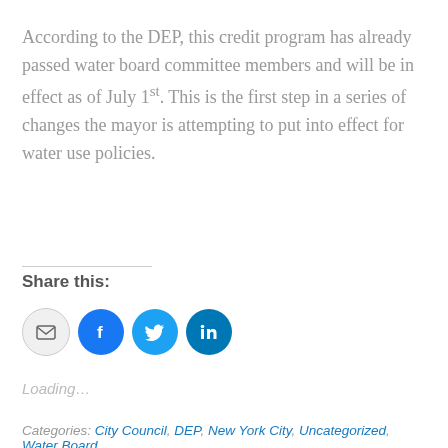According to the DEP, this credit program has already passed water board committee members and will be in effect as of July 1st. This is the first step in a series of changes the mayor is attempting to put into effect for water use policies.
Share this:
[Figure (other): Social share buttons: email, Facebook, Twitter, LinkedIn]
Loading...
Categories: City Council, DEP, New York City, Uncategorized, Water Board,